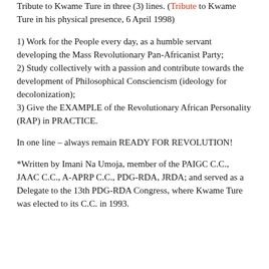Tribute to Kwame Ture in three (3) lines. (Tribute to Kwame Ture in his physical presence, 6 April 1998)
1) Work for the People every day, as a humble servant developing the Mass Revolutionary Pan-Africanist Party;
2) Study collectively with a passion and contribute towards the development of Philosophical Consciencism (ideology for decolonization);
3) Give the EXAMPLE of the Revolutionary African Personality (RAP) in PRACTICE.
In one line – always remain READY FOR REVOLUTION!
*Written by Imani Na Umoja, member of the PAIGC C.C., JAAC C.C., A-APRP C.C., PDG-RDA, JRDA; and served as a Delegate to the 13th PDG-RDA Congress, where Kwame Ture was elected to its C.C. in 1993.